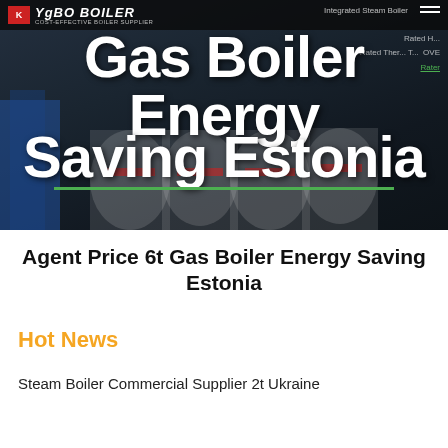[Figure (photo): Hero banner image showing industrial gas boilers on a dark background with company logo and navigation. Text overlay reads 'Gas Boiler Energy Saving Estonia'.]
Agent Price 6t Gas Boiler Energy Saving Estonia
Hot News
Steam Boiler Commercial Supplier 2t Ukraine